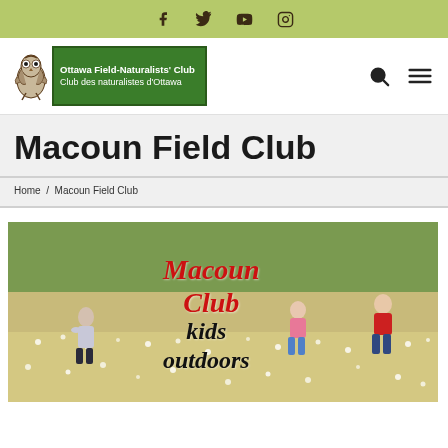Social media icons: Facebook, Twitter, YouTube, Instagram
[Figure (logo): Ottawa Field-Naturalists' Club / Club des naturalistes d'Ottawa logo with owl illustration in green box]
Macoun Field Club
Home / Macoun Field Club
[Figure (photo): Children running outdoors in a field of wildflowers. Overlay text reads 'Macoun Club' in red italic and 'kids outdoors' in black italic.]